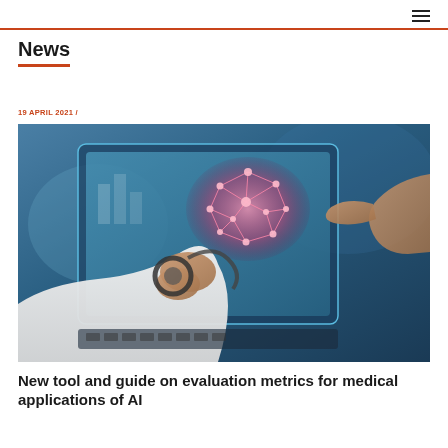News
19 APRIL 2021 /
[Figure (photo): A doctor in a white coat holds a stethoscope over a laptop/tablet screen displaying a glowing neural network brain diagram, with another hand pointing at the screen in the background. Blue-toned tech medical imagery.]
New tool and guide on evaluation metrics for medical applications of AI